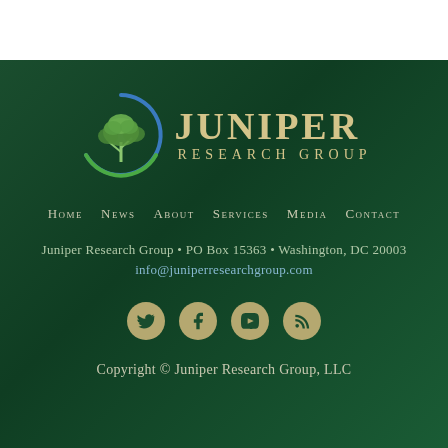[Figure (logo): Juniper Research Group logo — circular green/blue emblem with tree, beside text 'JUNIPER RESEARCH GROUP' in gold serif font on dark green background]
Home  News  About  Services  Media  Contact
Juniper Research Group • PO Box 15363 • Washington, DC 20003
info@juniperresearchgroup.com
[Figure (other): Social media icons: Twitter, Facebook, YouTube, RSS — gold circles on dark green background]
Copyright © Juniper Research Group, LLC